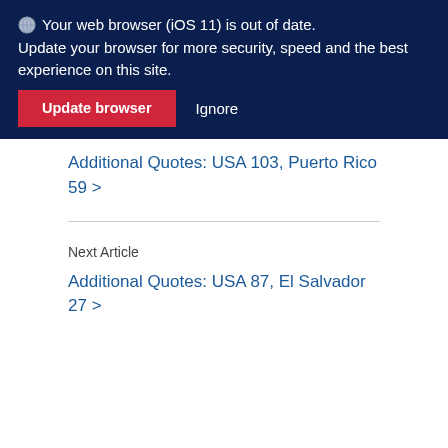🌐 Your web browser (iOS 11) is out of date. Update your browser for more security, speed and the best experience on this site.
Additional Quotes: USA 103, Puerto Rico 59 >
Next Article
Additional Quotes: USA 87, El Salvador 27 >